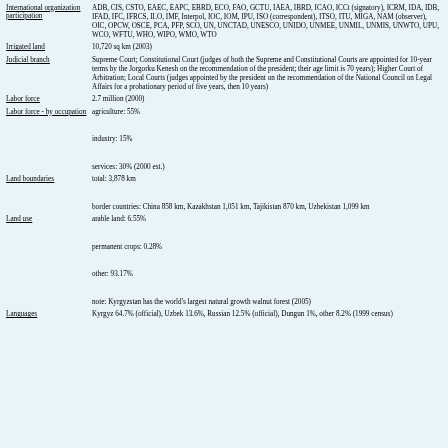| Field | Value |
| --- | --- |
| International organization participation | ADB, CIS, CSTO, EAEC, EAPC, EBRD, ECO, FAO, GCTU, IAEA, IBRD, ICAO, ICCt (signatory), ICRM, IDA, IDB, IFAD, IFC, IFRCS, ILO, IMF, Interpol, IOC, IOM, IPU, ISO (correspondent), ITSO, ITU, MIGA, NAM (observer), OIC, OPCW, OSCE, PCA, PFP, SCO, UN, UNCTAD, UNESCO, UNIDO, UNMEE, UNMIL, UNMIS, UNWTO, UPU, WCO, WFTU, WHO, WIPO, WMO, WTO |
| Irrigated land | 10,720 sq km (2003) |
| Judicial branch | Supreme Court; Constitutional Court (judges of both the Supreme and Constitutional Courts are appointed for 10-year terms by the Jorgorku Kenesh on the recommendation of the president; their age limit is 70 years); Higher Court of Arbitration; Local Courts (judges appointed by the president on the recommendation of the National Council on Legal Affairs for a probationary period of five years, then 10 years) |
| Labor force | 2.7 million (2000) |
| Labor force - by occupation | agriculture: 55%

industry: 15%

services: 30% (2000 est.) |
| Land boundaries | total: 3,878 km

border countries: China 858 km, Kazakhstan 1,051 km, Tajikistan 870 km, Uzbekistan 1,099 km |
| Land use | arable land: 6.55%

permanent crops: 0.28%

other: 93.17%

note: Kyrgyzstan has the world's largest natural growth walnut forest (2005) |
| Languages | Kyrgyz 64.7% (official), Uzbek 13.6%, Russian 12.5% (official), Dungun 1%, other 8.2% (1999 census) |